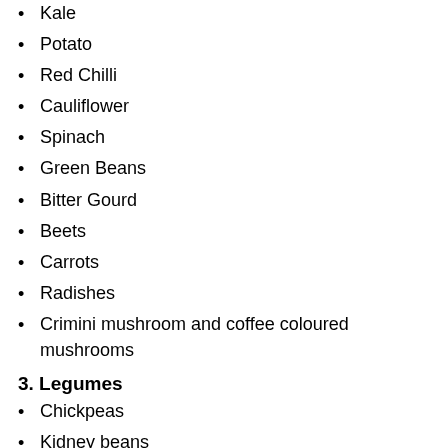Kale
Potato
Red Chilli
Cauliflower
Spinach
Green Beans
Bitter Gourd
Beets
Carrots
Radishes
Crimini mushroom and coffee coloured mushrooms
3. Legumes
Chickpeas
Kidney beans
lentils